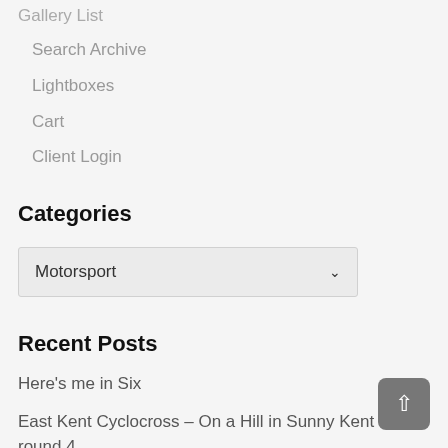Gallery List
Search Archive
Lightboxes
Cart
Client Login
Categories
[Figure (other): Dropdown selector showing 'Motorsport' with a chevron arrow]
Recent Posts
Here's me in Six
East Kent Cyclocross – On a Hill in Sunny Kent for round 4
Dover Athletic – Zeros to Heros